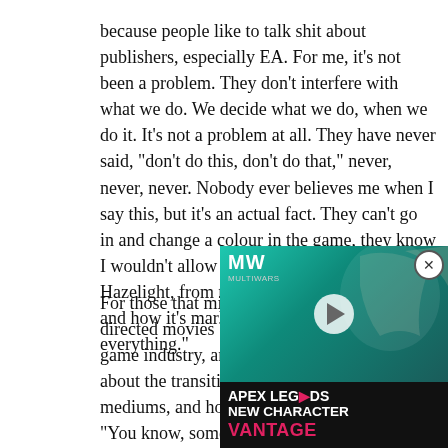because people like to talk shit about publishers, especially EA. For me, it's not been a problem. They don't interfere with what we do. We decide what we do, when we do it. It's not a problem at all. They have never said, "don't do this, don't do that," never, never, never. Nobody ever believes me when I say this, but it's an actual fact. They can't go in and change a colour in the game, they know I wouldn't allow it. Trust me, what you see at Hazelight, from the decisions about trailers and how it's marketed, we are part of everything."
For those that might not know, Josef Fares directed movies before working in the video game industry, and my final question was about the transition between the two mediums, and how different it was for him. "You know, sometimes I need to go have a vacation again after doing a movie. I've done six feature films. Film is a passive medium. Games are... you get a lot of stuff for free when you watch movies, their personality, their voice acting. But in games you have to create everything. The interactivity aspect makes it so much more complicated. In a passive medium you can control everything more. In a game, you don't know what the audience will do. They can stop and play minigames for five hours that destroys the whole
[Figure (screenshot): Advertisement overlay for Apex Legends New Character Vantage, with MW logo, character artwork, play button, and pink/teal color scheme. Close button (X) in top right corner.]